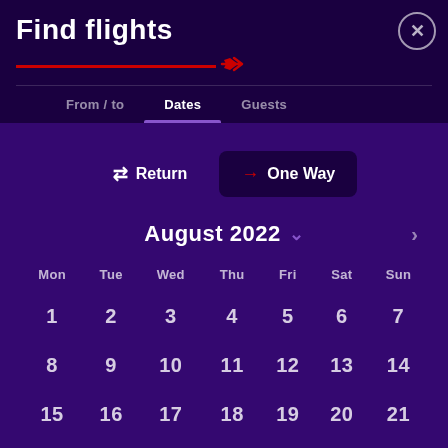Find flights
From / to | Dates | Guests
⇄ Return  → One Way
August 2022
| Mon | Tue | Wed | Thu | Fri | Sat | Sun |
| --- | --- | --- | --- | --- | --- | --- |
| 1 | 2 | 3 | 4 | 5 | 6 | 7 |
| 8 | 9 | 10 | 11 | 12 | 13 | 14 |
| 15 | 16 | 17 | 18 | 19 | 20 | 21 |